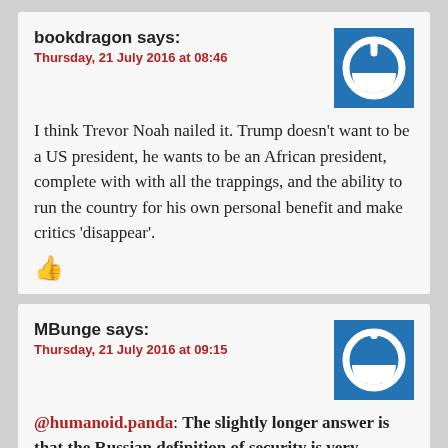bookdragon says:
Thursday, 21 July 2016 at 08:46
I think Trevor Noah nailed it. Trump doesn't want to be a US president, he wants to be an African president, complete with with all the trappings, and the ability to run the country for his own personal benefit and make critics 'disappear'.
MBunge says:
Thursday, 21 July 2016 at 09:15
@humanoid.panda: The slightly longer answer is that the Russian definition of security is very expansive
And this matters to the United States…why? And is different